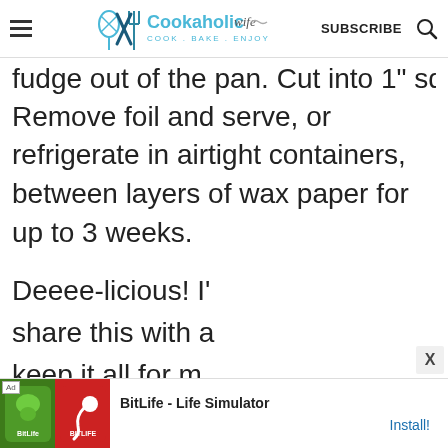Cookaholic Wife — COOK . BAKE . ENJOY | SUBSCRIBE
fudge out of the pan. Cut into 1" squares. Remove foil and serve, or refrigerate in airtight containers, between layers of wax paper for up to 3 weeks.
Deeee-licious! I' share this with a keep it all for m Brenda of Meal [ the 12 Weeks of Christmas Treats!
[Figure (screenshot): Ad banner for BitLife - Life Simulator with green and red app icon images, Install button link]